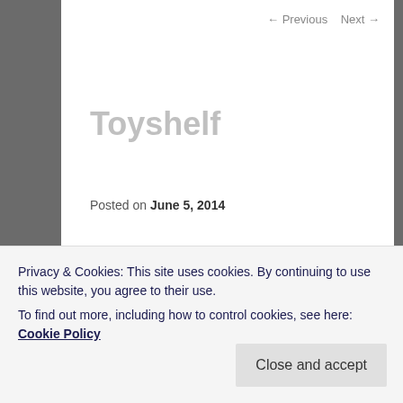← Previous   Next →
Toyshelf
Posted on June 5, 2014
Continuing with my geek out – see first post about casual gaming – I'd like to share my humble toy collection.
After a recent move, it was very important for me to get a new bookshelf to organize my toys. Not that I play with them, I'm a grownup, it's just my version of decorations.
Privacy & Cookies: This site uses cookies. By continuing to use this website, you agree to their use.
To find out more, including how to control cookies, see here: Cookie Policy